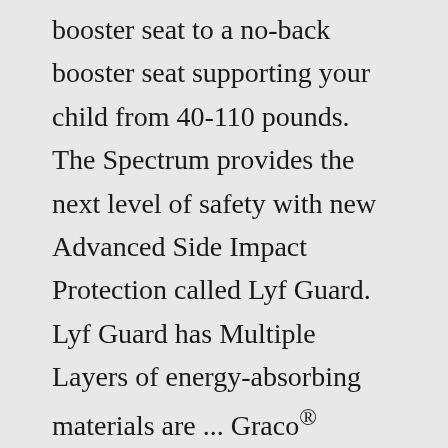booster seat to a no-back booster seat supporting your child from 40-110 pounds. The Spectrum provides the next level of safety with new Advanced Side Impact Protection called Lyf Guard. Lyf Guard has Multiple Layers of energy-absorbing materials are ... Graco® Backless TurboBooster® Car Seat. 381. $28.99. In stock for standard shipping. Chicco. Chicco® KidFit® ClearTex™ Plus 2-in-1